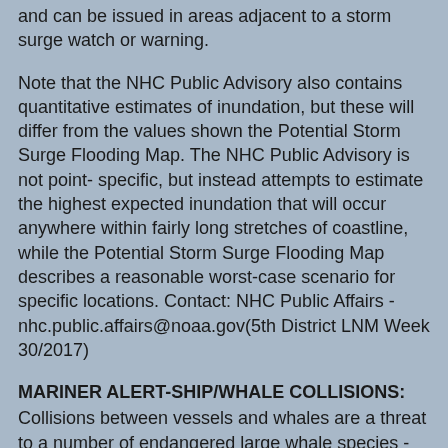and can be issued in areas adjacent to a storm surge watch or warning.
Note that the NHC Public Advisory also contains quantitative estimates of inundation, but these will differ from the values shown the Potential Storm Surge Flooding Map. The NHC Public Advisory is not point- specific, but instead attempts to estimate the highest expected inundation that will occur anywhere within fairly long stretches of coastline, while the Potential Storm Surge Flooding Map describes a reasonable worst-case scenario for specific locations. Contact: NHC Public Affairs - nhc.public.affairs@noaa.gov(5th District LNM Week 30/2017)
MARINER ALERT-SHIP/WHALE COLLISIONS:
Collisions between vessels and whales are a threat to a number of endangered large whale species - most notably, the right whale. The United States has established measures to reduce this threat. A vessel speed restriction requires that vessels 65 feet or greater in length travel 10 knots or less in certain areas and on a rolling basis at certain times where endangered right whales may be present: